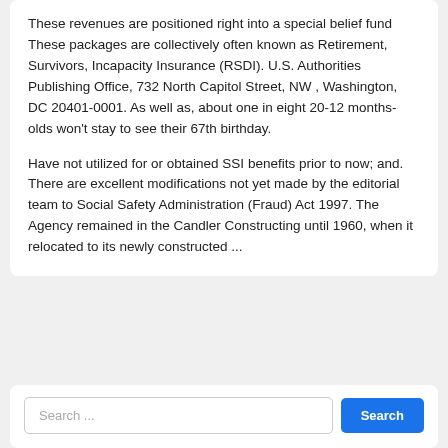These revenues are positioned right into a special belief fund These packages are collectively often known as Retirement, Survivors, Incapacity Insurance (RSDI). U.S. Authorities Publishing Office, 732 North Capitol Street, NW , Washington, DC 20401-0001. As well as, about one in eight 20-12 months-olds won't stay to see their 67th birthday.
Have not utilized for or obtained SSI benefits prior to now; and. There are excellent modifications not yet made by the editorial team to Social Safety Administration (Fraud) Act 1997. The Agency remained in the Candler Constructing until 1960, when it relocated to its newly constructed ...